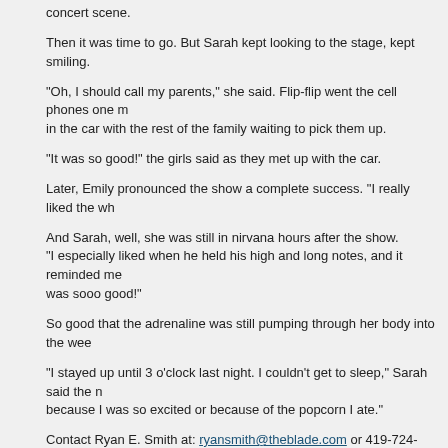concert scene.
Then it was time to go. But Sarah kept looking to the stage, kept smiling.
“Oh, I should call my parents,” she said. Flip-flip went the cell phones one m… in the car with the rest of the family wait‑ing to pick them up.
“It was so good!” the girls said as they met up with the car.
Later, Emily pronounced the show a complete success. “I really liked the wh…
And Sarah, well, she was still in nirvana hours after the show.
“I especially liked when he held his high and long notes, and it reminded me… was sooo good!”
So good that the adrenaline was still pumping through her body into the wee…
“I stayed up until 3 o’clock last night. I couldn’t get to sleep,” Sarah said the n… because I was so excited or because of the popcorn I ate.”
Contact Ryan E. Smith at: ryansmith@theblade.com or 419-724-6103.
< previous